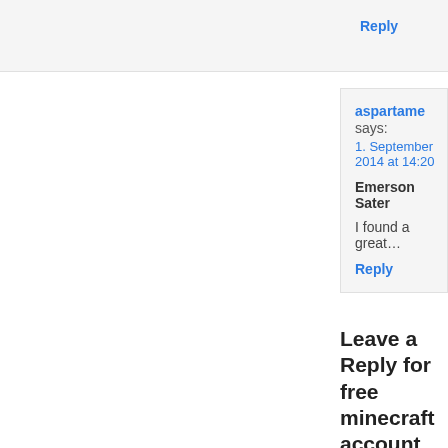Reply
aspartame says:
1. September 2014 at 14:20
Emerson Sater
I found a great…
Reply
Leave a Reply for free minecraft account download
Click here to cancel reply.